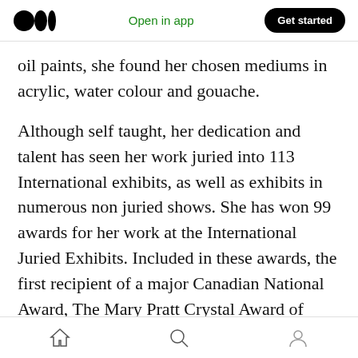Medium logo | Open in app | Get started
oil paints, she found her chosen mediums in acrylic, water colour and gouache.
Although self taught, her dedication and talent has seen her work juried into 113 International exhibits, as well as exhibits in numerous non juried shows. She has won 99 awards for her work at the International Juried Exhibits. Included in these awards, the first recipient of a major Canadian National Award, The Mary Pratt Crystal Award of Excellence at the 2014 SCA Open Juried Exhibition, The SCA 1st place award
Home | Search | Profile